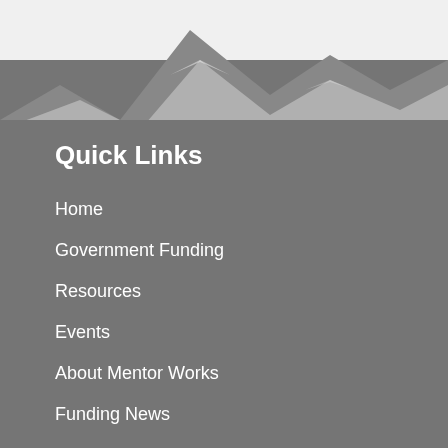[Figure (illustration): Mountain/peaks silhouette background graphic with light gray and white triangular mountain shapes on a gray background at the top of the page]
Quick Links
Home
Government Funding
Resources
Events
About Mentor Works
Funding News
Contact Us
Latest Funding News